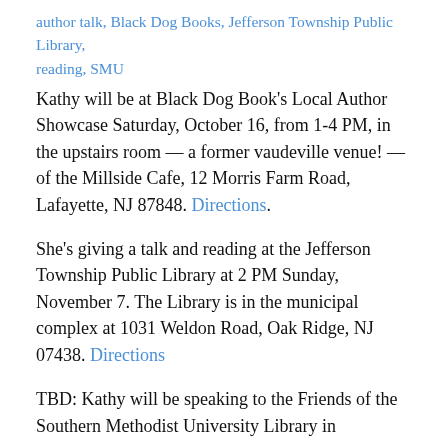author talk, Black Dog Books, Jefferson Township Public Library, reading, SMU
Kathy will be at Black Dog Book's Local Author Showcase Saturday, October 16, from 1-4 PM, in the upstairs room — a former vaudeville venue! — of the Millside Cafe, 12 Morris Farm Road, Lafayette, NJ 87848. Directions.
She's giving a talk and reading at the Jefferson Township Public Library at 2 PM Sunday, November 7. The Library is in the municipal complex at 1031 Weldon Road, Oak Ridge, NJ 07438. Directions
TBD: Kathy will be speaking to the Friends of the Southern Methodist University Library in